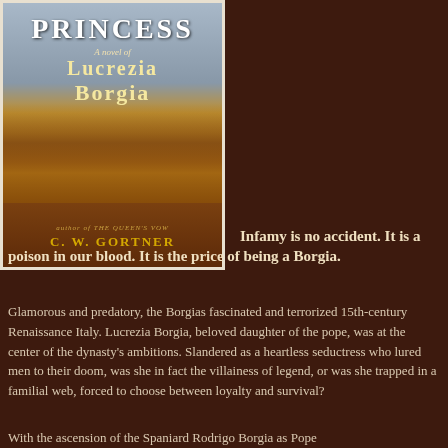[Figure (illustration): Book cover of 'The Borgia Confessions: A Novel of Lucrezia Borgia' by C.W. Gortner, showing a woman in a golden dress, with text 'author of The Queen's Vow' and the author's name.]
Infamy is no accident. It is a poison in our blood. It is the price of being a Borgia.
Glamorous and predatory, the Borgias fascinated and terrorized 15th-century Renaissance Italy. Lucrezia Borgia, beloved daughter of the pope, was at the center of the dynasty's ambitions. Slandered as a heartless seductress who lured men to their doom, was she in fact the villainess of legend, or was she trapped in a familial web, forced to choose between loyalty and survival?
With the ascension of the Spaniard Rodrigo Borgia as Pope